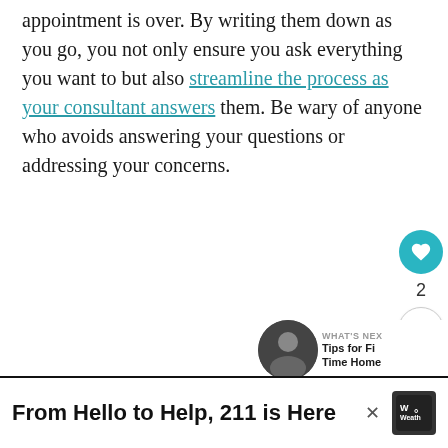appointment is over. By writing them down as you go, you not only ensure you ask everything you want to but also streamline the process as your consultant answers them. Be wary of anyone who avoids answering your questions or addressing your concerns.
[Figure (other): Heart/like button (teal circle with heart icon), share count '2', and share button (circle with share icon) in sidebar]
[Figure (other): What's Next panel with thumbnail photo and text 'Tips for Fi... Time Home...']
From Hello to Help, 211 is Here